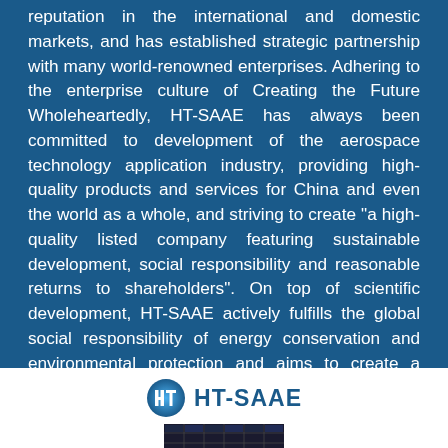reputation in the international and domestic markets, and has established strategic partnership with many world-renowned enterprises. Adhering to the enterprise culture of Creating the Future Wholeheartedly, HT-SAAE has always been committed to development of the aerospace technology application industry, providing high-quality products and services for China and even the world as a whole, and striving to create "a high-quality listed company featuring sustainable development, social responsibility and reasonable returns to shareholders". On top of scientific development, HT-SAAE actively fulfills the global social responsibility of energy conservation and environmental protection and aims to create a better future for mankind featuring sustainable development.
[Figure (logo): HT-SAAE company logo with blue circular icon and company name text, followed by partial solar panel image at bottom]